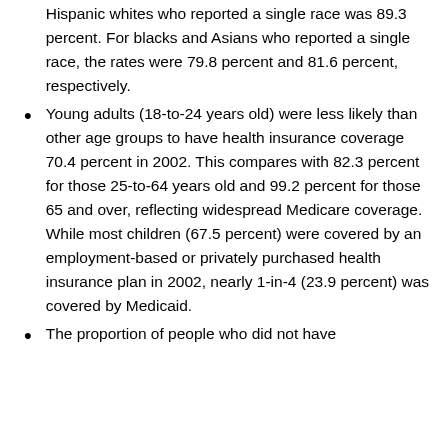Hispanic whites who reported a single race was 89.3 percent. For blacks and Asians who reported a single race, the rates were 79.8 percent and 81.6 percent, respectively.
Young adults (18-to-24 years old) were less likely than other age groups to have health insurance coverage 70.4 percent in 2002. This compares with 82.3 percent for those 25-to-64 years old and 99.2 percent for those 65 and over, reflecting widespread Medicare coverage. While most children (67.5 percent) were covered by an employment-based or privately purchased health insurance plan in 2002, nearly 1-in-4 (23.9 percent) was covered by Medicaid.
The proportion of people who did not have